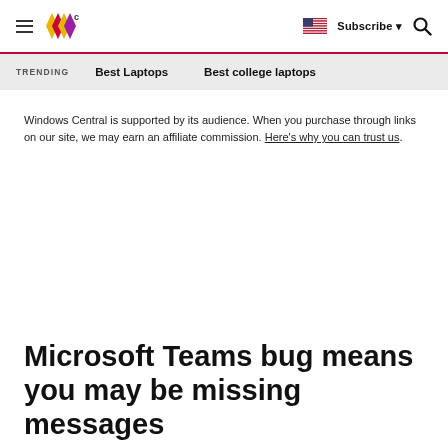Windows Central — hamburger menu, logo, flag, Subscribe, search
TRENDING   Best Laptops   Best college laptops
Windows Central is supported by its audience. When you purchase through links on our site, we may earn an affiliate commission. Here's why you can trust us.
Microsoft Teams bug means you may be missing messages